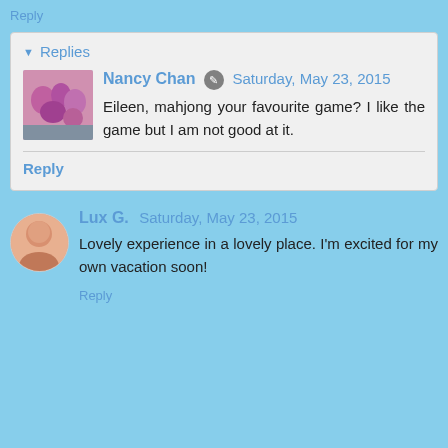Reply
Replies
Nancy Chan  Saturday, May 23, 2015
Eileen, mahjong your favourite game? I like the game but I am not good at it.
Reply
Lux G.  Saturday, May 23, 2015
Lovely experience in a lovely place. I'm excited for my own vacation soon!
Reply